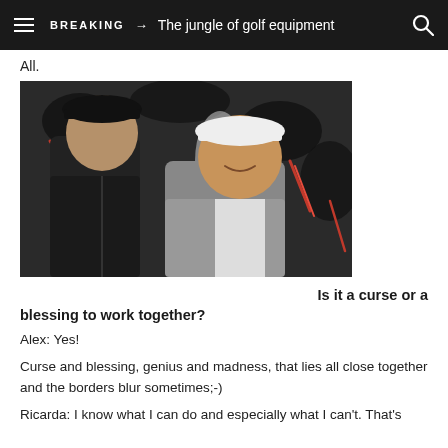BREAKING → The jungle of golf equipment
All.
[Figure (photo): Two young people standing in front of a graffiti wall. On the left, a person with a black cap and leather jacket. On the right, a woman with a white cap and grey jacket, smiling and looking at the person on the left.]
Is it a curse or a blessing to work together?
Alex: Yes!
Curse and blessing, genius and madness, that lies all close together and the borders blur sometimes;-)
Ricarda: I know what I can do and especially what I can't. That's